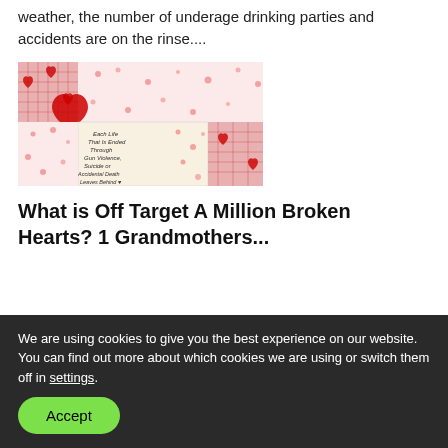weather, the number of underage drinking parties and accidents are on the rinse....
[Figure (photo): A heart-patterned quilt/fabric with red hearts on white background. A central patch reads: 'Each Life That Is Ended Through Gun Violence, Suicide or Accidental Death Leaves Behind A Million...']
What is Off Target A Million Broken Hearts? 1 Grandmothers...
We are using cookies to give you the best experience on our website.
You can find out more about which cookies we are using or switch them off in settings.
Accept